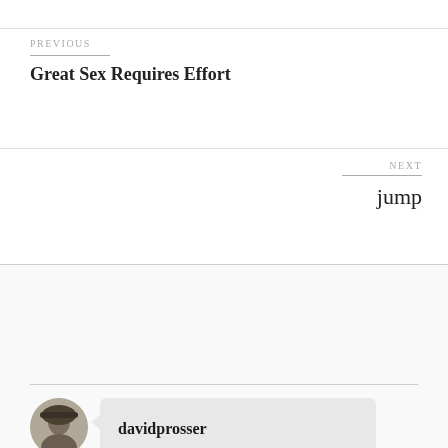PREVIOUS
Great Sex Requires Effort
NEXT
jump
33 thoughts on "“Hate Floats”"
davidprosser